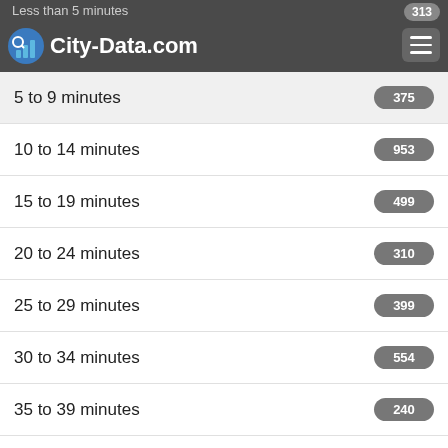City-Data.com
Less than 5 minutes
5 to 9 minutes
10 to 14 minutes
15 to 19 minutes
20 to 24 minutes
25 to 29 minutes
30 to 34 minutes
35 to 39 minutes
40 to 44 minutes
45 to 59 minutes
60 to 89 minutes